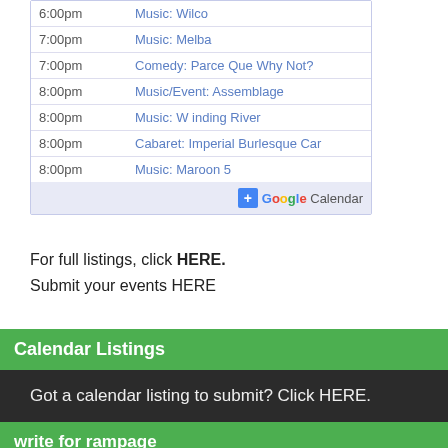| Time | Event |
| --- | --- |
| 6:00pm | Music: Wilco |
| 7:00pm | Music: Melba |
| 7:00pm | Comedy: Parce Que Why Not? |
| 8:00pm | Music/Event: Assemblage |
| 8:00pm | Music: W inding River |
| 8:00pm | Cabaret: Imperial Burlesque Car |
| 8:00pm | Music: Maroon 5 |
For full listings, click HERE.
Submit your events HERE
Calendar Listings
Got a calendar listing to submit? Click HERE.
write for rampage